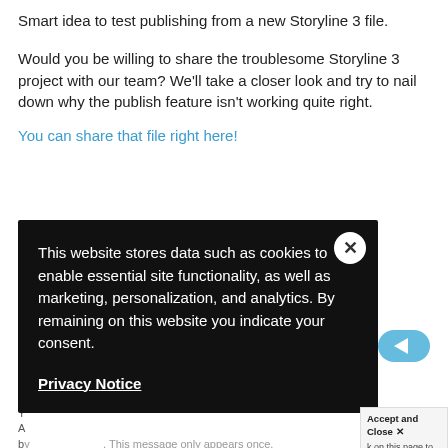Smart idea to test publishing from a new Storyline 3 file.
Would you be willing to share the troublesome Storyline 3 project with our team? We'll take a closer look and try to nail down why the publish feature isn't working quite right.
You can share that file right here!
This website stores data such as cookies to enable essential site functionality, as well as marketing, personalization, and analytics. By remaining on this website you indicate your consent.
Privacy Notice
Accept and Close
k on this page to allow t of this AdRoll tracking